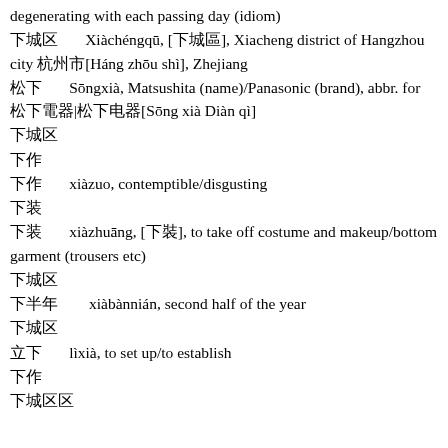degenerating with each passing day (idiom)
下城区　　Xiàchéngqū, [下城區], Xiacheng district of Hangzhou city 杭州市[Háng zhōu shì], Zhejiang
松下　　Sōngxià, Matsushita (name)/Panasonic (brand), abbr. for 松下電器|松下电器[Sōng xià Diàn qì]
下城区
下作
下作　　xiàzuo, contemptible/disgusting
下装
下装　　xiàzhuāng, [下裝], to take off costume and makeup/bottom garment (trousers etc)
下城区
下半年　　xiàbànnián, second half of the year
下城区
立下　　lìxià, to set up/to establish
下作
下城区区